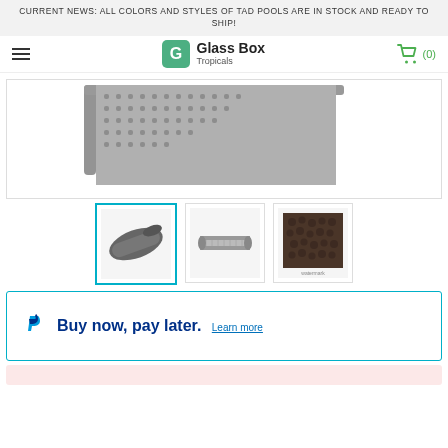CURRENT NEWS: ALL COLORS AND STYLES OF TAD POOLS ARE IN STOCK AND READY TO SHIP!
[Figure (logo): Glass Box Tropicals logo with hamburger menu and cart icon showing (0) items]
[Figure (photo): Close-up product photo of a mesh/perforated mat or screen with metal frame corner visible]
[Figure (photo): Three product thumbnail images: 1) dark gray roll/cylinder piece, 2) flat mat/panel with frame, 3) dark brown textured fabric close-up]
Buy now, pay later. Learn more
[Figure (other): Partial pink banner at bottom of page]